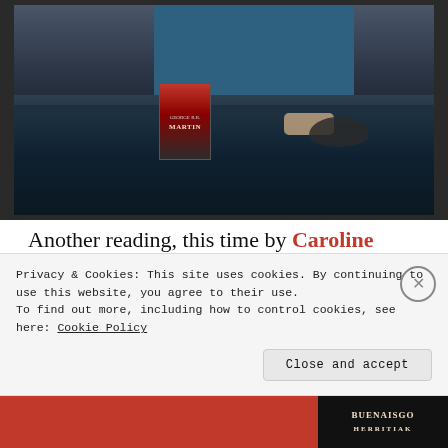[Figure (photo): A person in a blue outfit sitting behind a dark-clothed table with a George R.R. Martin book displayed on it, a mouse/pad to the right, and a gold chair back visible behind them.]
Another reading, this time by Caroline Spector. Her story was not from the book in the picture but rather the soon-to-be-
Privacy & Cookies: This site uses cookies. By continuing to use this website, you agree to their use.
To find out more, including how to control cookies, see here: Cookie Policy
Close and accept